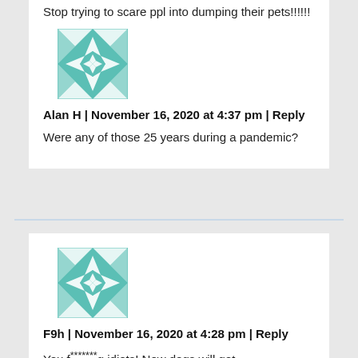Stop trying to scare ppl into dumping their pets!!!!!!
[Figure (illustration): Teal and white geometric quilt-pattern avatar icon for user Alan H]
Alan H | November 16, 2020 at 4:37 pm | Reply
Were any of those 25 years during a pandemic?
[Figure (illustration): Teal and white geometric quilt-pattern avatar icon for user F9h]
F9h | November 16, 2020 at 4:28 pm | Reply
You f*******g idiots! Now dogs will get